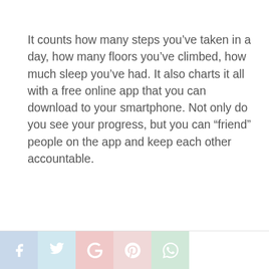It counts how many steps you've taken in a day, how many floors you've climbed, how much sleep you've had. It also charts it all with a free online app that you can download to your smartphone. Not only do you see your progress, but you can “friend” people on the app and keep each other accountable.
[Figure (infographic): Social sharing bar with Facebook, Twitter, Google+, Pinterest, and WhatsApp icons]